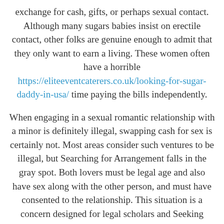exchange for cash, gifts, or perhaps sexual contact. Although many sugars babies insist on erectile contact, other folks are genuine enough to admit that they only want to earn a living. These women often have a horrible https://eliteeventcaterers.co.uk/looking-for-sugar-daddy-in-usa/ time paying the bills independently.

When engaging in a sexual romantic relationship with a minor is definitely illegal, swapping cash for sex is certainly not. Most areas consider such ventures to be illegal, but Searching for Arrangement falls in the gray spot. Both lovers must be legal age and also have sex along with the other person, and must have consented to the relationship. This situation is a concern designed for legal scholars and Seeking Arrangement, but the company is usually taking steps to minimize the risks.